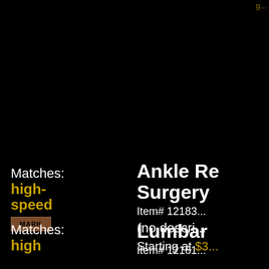Matches: high-speed
MARK
Ankle Re... Surgery
Item# 12183...
(no descri...
Starting at $3...
Matches: high
Lumbar
Item# 12161...